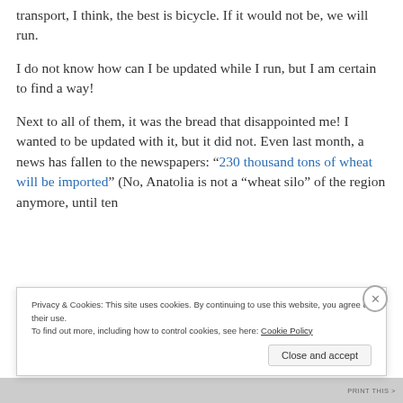transport, I think, the best is bicycle. If it would not be, we will run.
I do not know how can I be updated while I run, but I am certain to find a way!
Next to all of them, it was the bread that disappointed me! I wanted to be updated with it, but it did not. Even last month, a news has fallen to the newspapers: “230 thousand tons of wheat will be imported” (No, Anatolia is not a “wheat silo” of the region anymore, until ten
Privacy & Cookies: This site uses cookies. By continuing to use this website, you agree to their use.
To find out more, including how to control cookies, see here: Cookie Policy
Close and accept